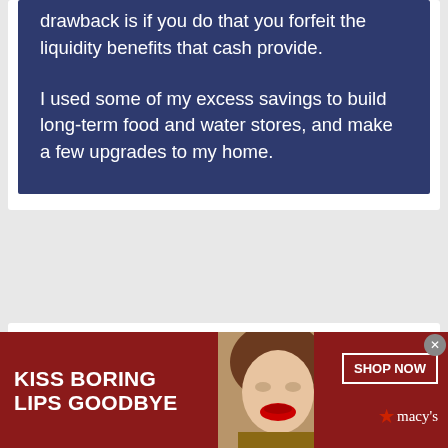drawback is if you do that you forfeit the liquidity benefits that cash provide.
I used some of my excess savings to build long-term food and water stores, and make a few upgrades to my home.
Kurt @ Money Counselor says
Hi Len
[Figure (screenshot): Advertisement banner: 'KISS BORING LIPS GOODBYE' with a woman's face and SHOP NOW button for Macy's]